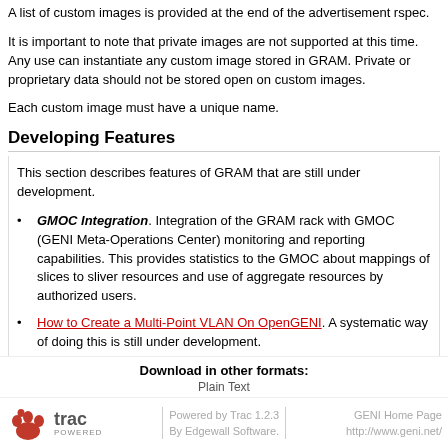A list of custom images is provided at the end of the advertisement rspec.
It is important to note that private images are not supported at this time. Any use can instantiate any custom image stored in GRAM. Private or proprietary data should not be stored open on custom images.
Each custom image must have a unique name.
Developing Features
This section describes features of GRAM that are still under development.
GMOC Integration. Integration of the GRAM rack with GMOC (GENI Meta-Operations Center) monitoring and reporting capabilities. This provides statistics to the GMOC about mappings of slices to sliver resources and use of aggregate resources by authorized users.
How to Create a Multi-Point VLAN On OpenGENI. A systematic way of doing this is still under development.
Download in other formats:
Plain Text
Powered by Trac 1.2.3 By Edgewall Software. | GENI Home Page http://www.geni.net/